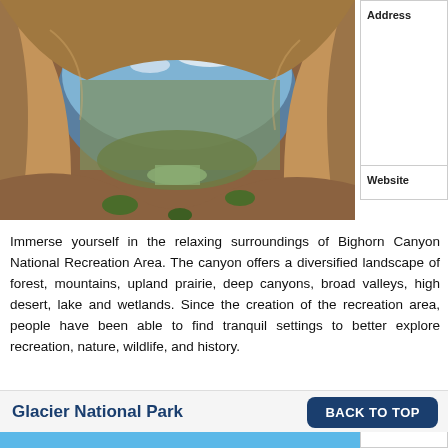[Figure (photo): Canyon landscape viewed through a natural rock arch opening, showing green river winding through deep rocky canyon below, taken from inside a cave/arch, blue sky visible through the opening.]
Address
Website
Immerse yourself in the relaxing surroundings of Bighorn Canyon National Recreation Area. The canyon offers a diversified landscape of forest, mountains, upland prairie, deep canyons, broad valleys, high desert, lake and wetlands. Since the creation of the recreation area, people have been able to find tranquil settings to better explore recreation, nature, wildlife, and history.
Glacier National Park
BACK TO TOP
[Figure (photo): Partial view of Glacier National Park image at bottom, cut off.]